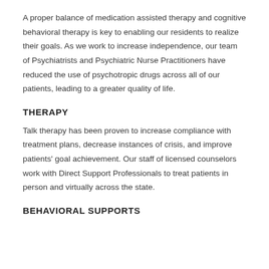A proper balance of medication assisted therapy and cognitive behavioral therapy is key to enabling our residents to realize their goals. As we work to increase independence, our team of Psychiatrists and Psychiatric Nurse Practitioners have reduced the use of psychotropic drugs across all of our patients, leading to a greater quality of life.
THERAPY
Talk therapy has been proven to increase compliance with treatment plans, decrease instances of crisis, and improve patients' goal achievement. Our staff of licensed counselors work with Direct Support Professionals to treat patients in person and virtually across the state.
BEHAVIORAL SUPPORTS